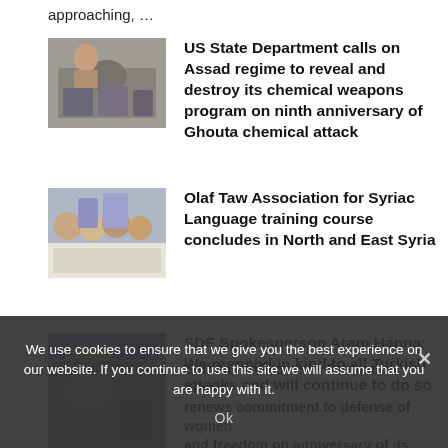approaching, …
US State Department calls on Assad regime to reveal and destroy its chemical weapons program on ninth anniversary of Ghouta chemical attack
Olaf Taw Association for Syriac Language training course concludes in North and East Syria
SDF Spokesperson Aram Hanna: We respond in kind to all Turkish attacks and will continue to do so
Bethnabrin Women's Protection Forces renews commitment to defense of women and freedom on anniversary of its founding
We use cookies to ensure that we give you the best experience on our website. If you continue to use this site we will assume that you are happy with it.
Ok